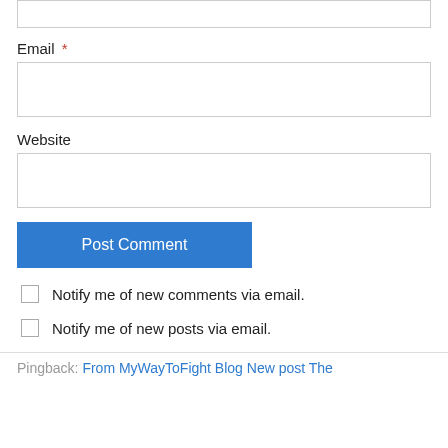[Figure (screenshot): Top input box (partial, cropped at top of page)]
Email *
[Figure (screenshot): Email input text field]
Website
[Figure (screenshot): Website input text field]
Post Comment
Notify me of new comments via email.
Notify me of new posts via email.
Pingback: From MyWayToFight Blog New post The